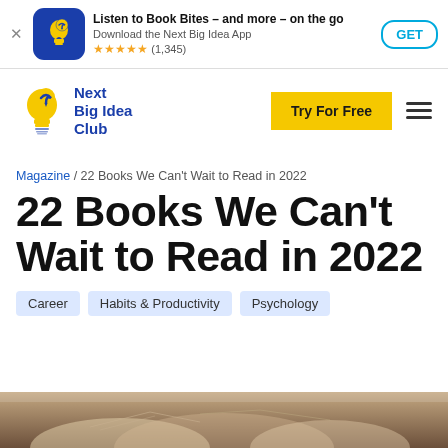Listen to Book Bites – and more – on the go
Download the Next Big Idea App
★★★★★ (1,345)
GET
[Figure (logo): Next Big Idea Club logo with yellow lightbulb icon and blue text]
Try For Free
Magazine / 22 Books We Can't Wait to Read in 2022
22 Books We Can't Wait to Read in 2022
Career
Habits & Productivity
Psychology
[Figure (photo): Bottom strip showing open books, blurred background photo]